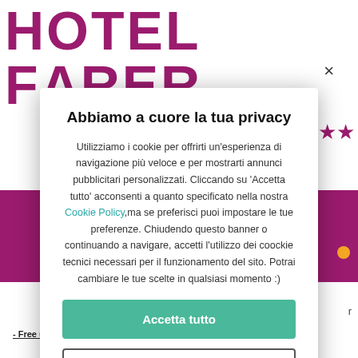[Figure (screenshot): Hotel Faber website background showing logo text 'HOTEL FABER' in magenta/purple color, stars rating symbols, a magenta bar, and partial page content]
Abbiamo a cuore la tua privacy
Utilizziamo i cookie per offrirti un'esperienza di navigazione più veloce e per mostrarti annunci pubblicitari personalizzati. Cliccando su 'Accetta tutto' acconsenti a quanto specificato nella nostra Cookie Policy,ma se preferisci puoi impostare le tue preferenze. Chiudendo questo banner o continuando a navigare, accetti l'utilizzo dei coockie tecnici necessari per il funzionamento del sito. Potrai cambiare le tue scelte in qualsiasi momento :)
Accetta tutto
Gestione preferenze
Free unlimited WiFi Internet connection